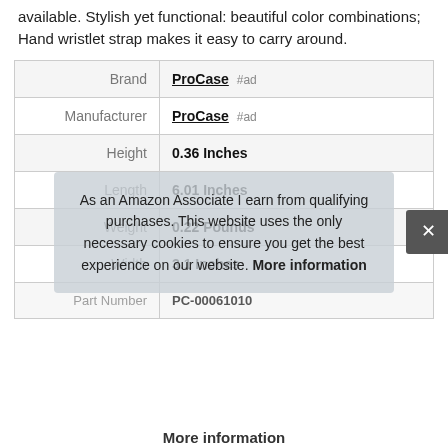available. Stylish yet functional: beautiful color combinations; Hand wristlet strap makes it easy to carry around.
| Attribute | Value |
| --- | --- |
| Brand | ProCase #ad |
| Manufacturer | ProCase #ad |
| Height | 0.36 Inches |
| Length | 6.01 Inches |
| Weight | 0.22 Pounds |
| Width | 3.1 Inches |
| Part Number | PC-00061010 |
As an Amazon Associate I earn from qualifying purchases. This website uses the only necessary cookies to ensure you get the best experience on our website. More information
More information